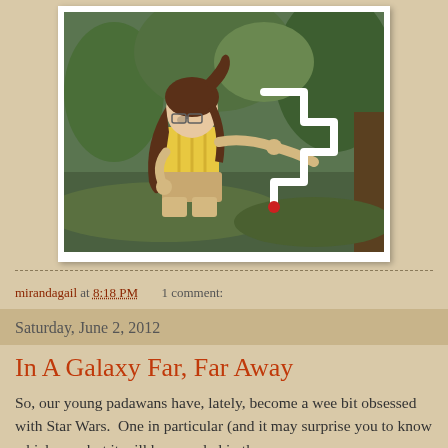[Figure (photo): A young girl with long brown hair and glasses, wearing a yellow striped shirt and khaki shorts, sitting outdoors in a wooded area, working with white PVC pipes bent into a zigzag shape.]
mirandagail at 8:18 PM   1 comment:
Saturday, June 2, 2012
In A Galaxy Far, Far Away
So, our young padawans have, lately, become a wee bit obsessed with Star Wars.  One in particular (and it may surprise you to know which one, but it will be revealed in the